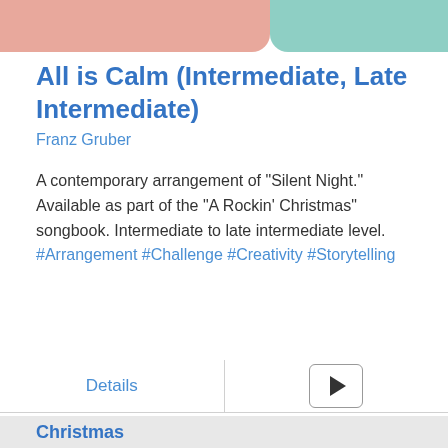[Figure (illustration): Two-tone top bar: pink/salmon on the left, teal on the right]
All is Calm (Intermediate, Late Intermediate)
Franz Gruber
A contemporary arrangement of "Silent Night." Available as part of the "A Rockin' Christmas" songbook. Intermediate to late intermediate level. #Arrangement #Challenge #Creativity #Storytelling
Details
[Figure (other): Play button icon inside a rounded rectangle border]
Christmas